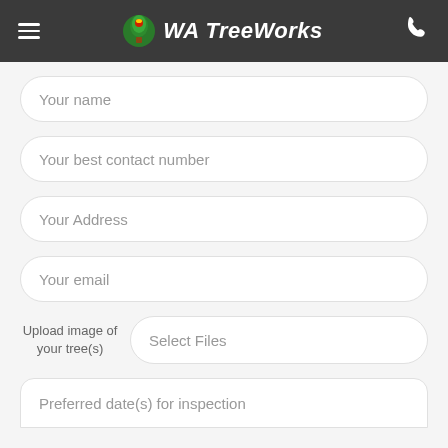WA TreeWorks
Your name
Your best contact number
Your Address
Your email
Upload image of your tree(s)
Select Files
Preferred date(s) for inspection